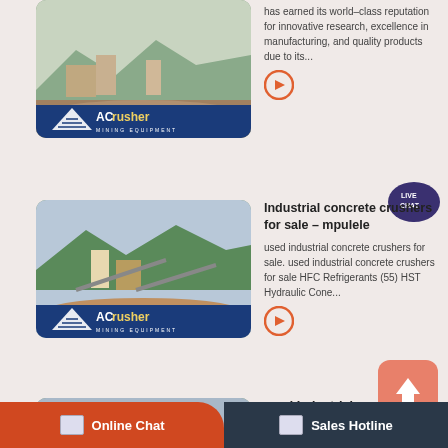[Figure (photo): Mining equipment facility with ACrusher Mining Equipment logo badge at bottom]
has earned its world-class reputation for innovative research, excellence in manufacturing, and quality products due to its...
[Figure (other): Orange arrow circle button]
[Figure (other): Live Chat speech bubble badge]
[Figure (photo): Industrial mining plant facility with ACrusher Mining Equipment logo badge at bottom]
Industrial concrete crushers for sale – mpulele
used industrial concrete crushers for sale. used industrial concrete crushers for sale HFC Refrigerants (55) HST Hydraulic Cone...
[Figure (other): Orange arrow circle button]
[Figure (photo): Mining plant with conveyors and ACrusher Mining Equipment logo badge at bottom]
used Industrial concrete crushers for sale
used industrial concrete crushers for sale. Concrete Crusher. Impact crushers instead of jaw crushers More performance and quality in...
[Figure (other): Orange arrow circle button]
[Figure (other): Scroll up orange button with upward arrow]
Online Chat | Sales Hotline